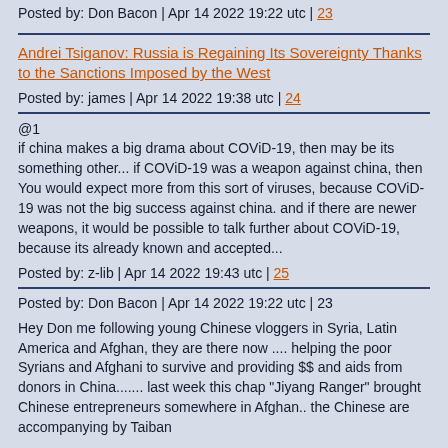Posted by: Don Bacon | Apr 14 2022 19:22 utc | 23
Andrei Tsiganov: Russia is Regaining Its Sovereignty Thanks to the Sanctions Imposed by the West
Posted by: james | Apr 14 2022 19:38 utc | 24
@1
if china makes a big drama about COViD-19, then may be its something other... if COViD-19 was a weapon against china, then You would expect more from this sort of viruses, because COViD-19 was not the big success against china. and if there are newer weapons, it would be possible to talk further about COViD-19, because its already known and accepted...
Posted by: z-lib | Apr 14 2022 19:43 utc | 25
Posted by: Don Bacon | Apr 14 2022 19:22 utc | 23
Hey Don me following young Chinese vloggers in Syria, Latin America and Afghan, they are there now .... helping the poor Syrians and Afghani to survive and providing $$ and aids from donors in China....... last week this chap "Jiyang Ranger" brought Chinese entrepreneurs somewhere in Afghan.. the Chinese are accompanying by Taiban